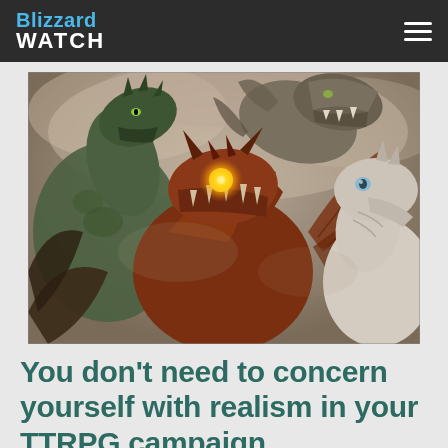Blizzard WATCH
[Figure (illustration): Fantasy digital artwork showing multiple dragons — a green dragon on the left with open jaws, a large red/orange dragon in the center with a glowing eye and fire, and a white/grey creature on the right, set against a smoky grey sky background.]
You don't need to concern yourself with realism in your TTRPG campaign